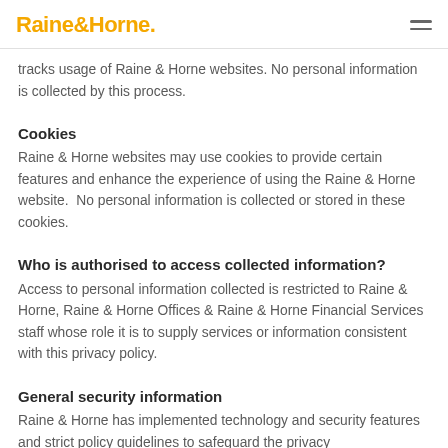Raine&Horne.
tracks usage of Raine & Horne websites. No personal information is collected by this process.
Cookies
Raine & Horne websites may use cookies to provide certain features and enhance the experience of using the Raine & Horne website. No personal information is collected or stored in these cookies.
Who is authorised to access collected information?
Access to personal information collected is restricted to Raine & Horne, Raine & Horne Offices & Raine & Horne Financial Services staff whose role it is to supply services or information consistent with this privacy policy.
General security information
Raine & Horne has implemented technology and security features and strict policy guidelines to safeguard the privacy